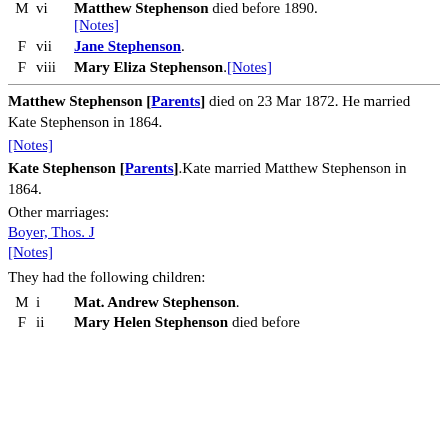M vi Matthew Stephenson died before 1890. [Notes]
F vii Jane Stephenson.
F viii Mary Eliza Stephenson.[Notes]
Matthew Stephenson [Parents] died on 23 Mar 1872. He married Kate Stephenson in 1864.
[Notes]
Kate Stephenson [Parents].Kate married Matthew Stephenson in 1864.
Other marriages:
Boyer, Thos. J
[Notes]
They had the following children:
M i Mat. Andrew Stephenson.
F ii Mary Helen Stephenson died before